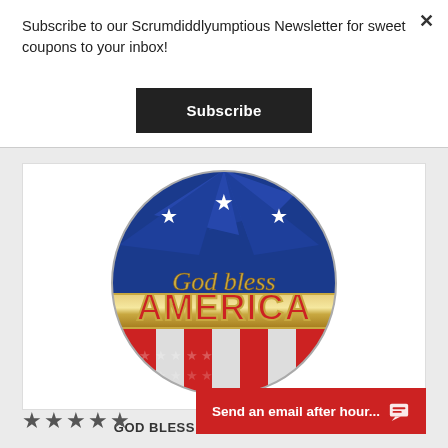Subscribe to our Scrumdiddlyumptious Newsletter for sweet coupons to your inbox!
Subscribe
[Figure (photo): A round foil balloon with patriotic American design. Gold script text reads 'God Bless' on top, bold 'AMERICA' text in the middle on a silver/gold banner, and red and white stripes on the bottom half. Blue top with white stars.]
GOD BLESS AMERICA BALLOON
★★★★★
Send an email after hour...